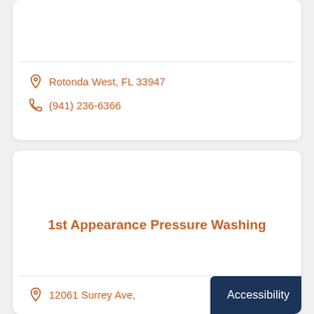Rotonda West, FL 33947
(941) 236-6366
1st Appearance Pressure Washing
12061 Surrey Ave,
Accessibility